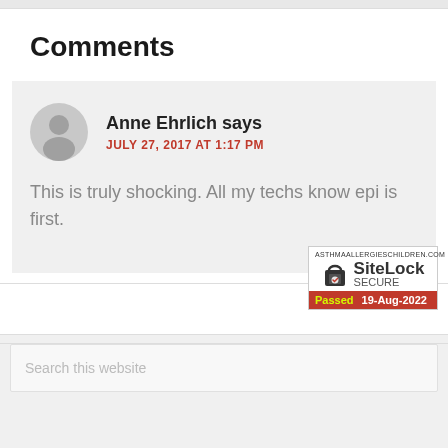Comments
Anne Ehrlich says
JULY 27, 2017 AT 1:17 PM

This is truly shocking. All my techs know epi is first.
[Figure (other): SiteLock Secure badge showing asthmaallergieschildren.com, Passed 19-Aug-2022]
Search this website